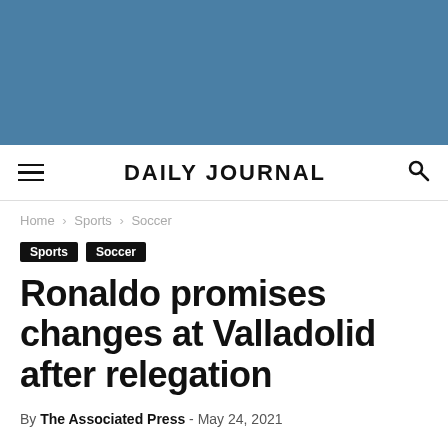[Figure (other): Blue banner/advertisement area at top of page]
DAILY JOURNAL
Home › Sports › Soccer
Sports  Soccer
Ronaldo promises changes at Valladolid after relegation
By The Associated Press - May 24, 2021